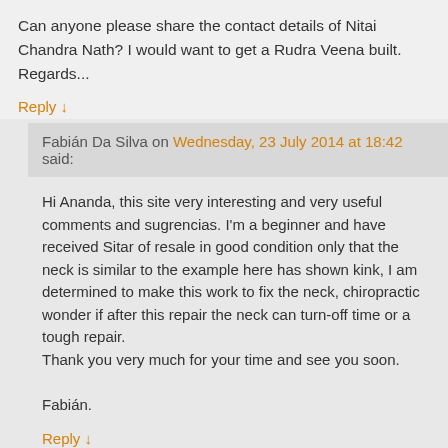Can anyone please share the contact details of Nitai Chandra Nath? I would want to get a Rudra Veena built. Regards...
Reply ↓
Fabián Da Silva on Wednesday, 23 July 2014 at 18:42 said:
Hi Ananda, this site very interesting and very useful comments and sugrencias. I'm a beginner and have received Sitar of resale in good condition only that the neck is similar to the example here has shown kink, I am determined to make this work to fix the neck, chiropractic wonder if after this repair the neck can turn-off time or a tough repair.
Thank you very much for your time and see you soon.

Fabián.
Reply ↓
Larry Lull on Friday, 26 October 2012 at 23:06 said: